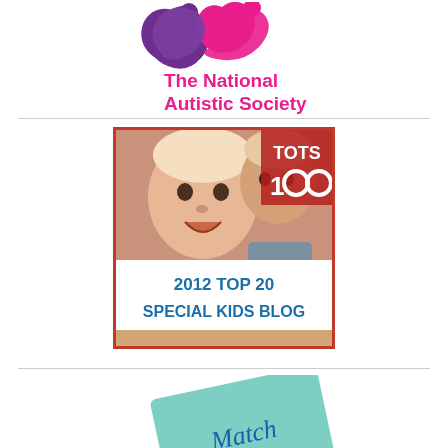[Figure (logo): The National Autistic Society logo with two abstract figures in purple and pink, with text 'The National Autistic Society' in pink.]
[Figure (other): Tots 100 badge: photo of smiling toddler with '2012 TOP 20 SPECIAL KIDS BLOG' text in blue on white background, red border.]
[Figure (other): Partially visible 'Match' card/voucher at bottom of page, turquoise/teal color.]